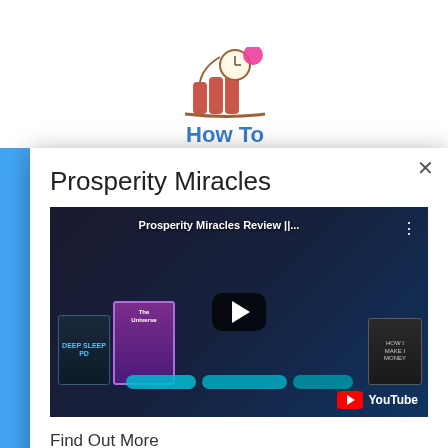[Figure (illustration): Partial background showing a clock/dynamite 'How To' product image at top]
Prosperity Miracles
[Figure (screenshot): YouTube video embed showing 'Prosperity Miracles Review ||...' with product boxes visible and a play button]
Find Out More
Click Here Now
Now
How
sto
rea
avo
Now
£1.99